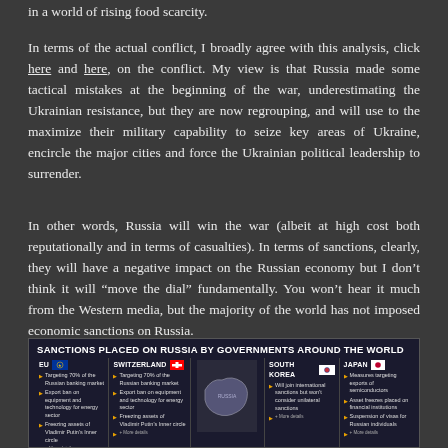in a world of rising food scarcity.
In terms of the actual conflict, I broadly agree with this analysis, click here and here, on the conflict. My view is that Russia made some tactical mistakes at the beginning of the war, underestimating the Ukrainian resistance, but they are now regrouping, and will use to the maximize their military capability to seize key areas of Ukraine, encircle the major cities and force the Ukrainian political leadership to surrender.
In other words, Russia will win the war (albeit at high cost both reputationally and in terms of casualties). In terms of sanctions, clearly, they will have a negative impact on the Russian economy but I don't think it will “move the dial” fundamentally. You won’t hear it much from the Western media, but the majority of the world has not imposed economic sanctions on Russia.
[Figure (infographic): Infographic titled 'SANCTIONS PLACED ON RUSSIA BY GOVERNMENTS AROUND THE WORLD' showing sanctions from EU, Switzerland, South Korea, and Japan with flags and bullet points describing each country's sanctions measures, and a map of Russia in the center.]